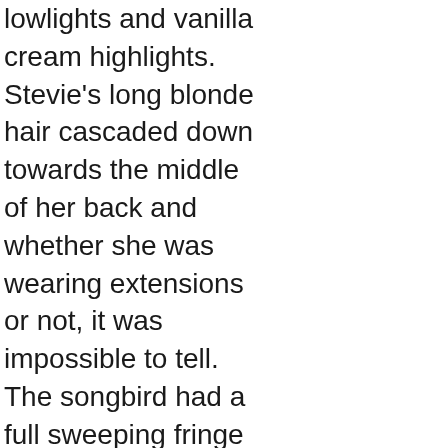lowlights and vanilla cream highlights. Stevie's long blonde hair cascaded down towards the middle of her back and whether she was wearing extensions or not, it was impossible to tell.  The songbird had a full sweeping fringe which